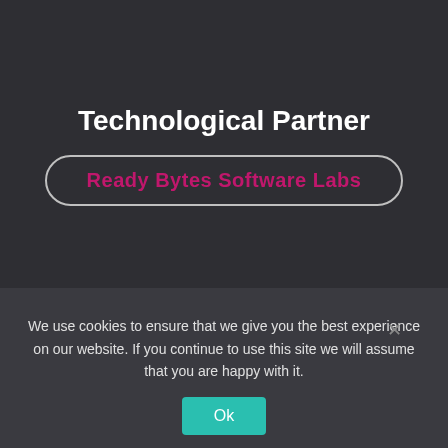Technological Partner
Ready Bytes Software Labs
We use cookies to ensure that we give you the best experience on our website. If you continue to use this site we will assume that you are happy with it.
Ok